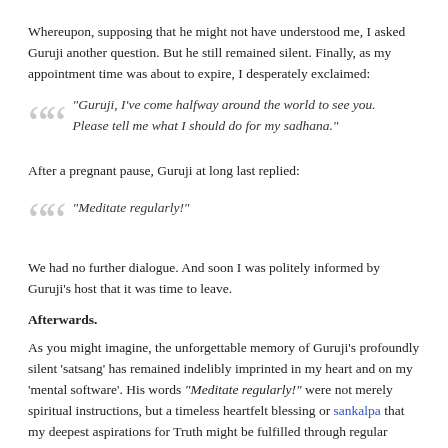Whereupon, supposing that he might not have understood me, I asked Guruji another question. But he still remained silent. Finally, as my appointment time was about to expire, I desperately exclaimed:
“Guruji, I’ve come halfway around the world to see you. Please tell me what I should do for my sadhana.”
After a pregnant pause, Guruji at long last replied:
“Meditate regularly!”
We had no further dialogue. And soon I was politely informed by Guruji’s host that it was time to leave.
Afterwards.
As you might imagine, the unforgettable memory of Guruji’s profoundly silent ‘satsang’ has remained indelibly imprinted in my heart and on my ‘mental software’. His words “Meditate regularly!” were not merely spiritual instructions, but a timeless heartfelt blessing or sankalpa that my deepest aspirations for Truth might be fulfilled through regular meditation!